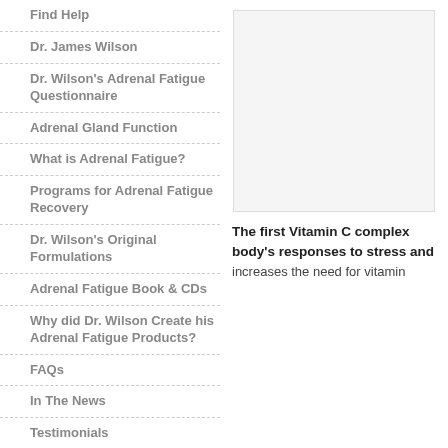Find Help
Dr. James Wilson
Dr. Wilson's Adrenal Fatigue Questionnaire
Adrenal Gland Function
What is Adrenal Fatigue?
Programs for Adrenal Fatigue Recovery
Dr. Wilson's Original Formulations
Adrenal Fatigue Book & CDs
Why did Dr. Wilson Create his Adrenal Fatigue Products?
FAQs
In The News
Testimonials
Articles
Upcoming Events
[Figure (other): Advertisement or placeholder image box]
The first Vitamin C complex body's responses to stress and increases the need for vitamin